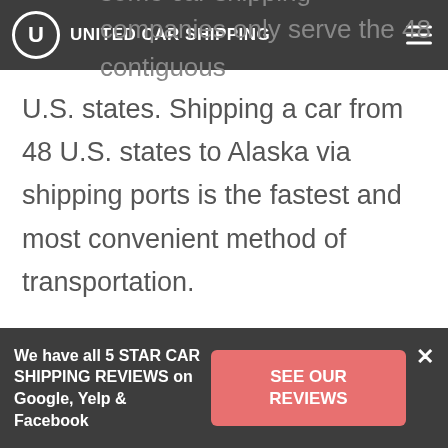UNITED CAR SHIPPING
Alaska can be tricky, as some car shipping companies only serve the 48 contiguous U.S. states. Shipping a car from 48 U.S. states to Alaska via shipping ports is the fastest and most convenient method of transportation.
AutoStar Transport Express has strong partnerships with Alaska transportation companies who know exactly how to manage the terrain and time that makes
We have all 5 STAR CAR SHIPPING REVIEWS on Google, Yelp & Facebook
SEE OUR REVIEWS